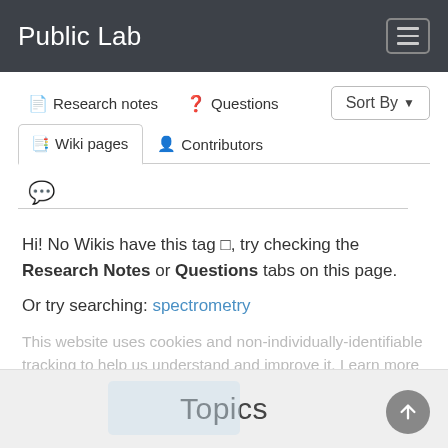Public Lab
Research notes
Questions
Wiki pages
Contributors
Hi! No Wikis have this tag □, try checking the Research Notes or Questions tabs on this page.
Or try searching: spectrometry
This website uses cookies and non-individually-identifiable tracking to help us understand and improve it. Learn more
Topics